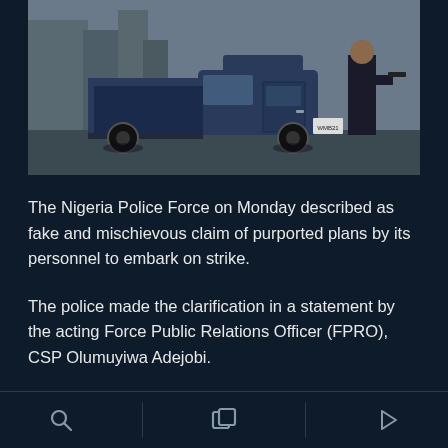[Figure (photo): A dark blue pickup truck with open cab and cargo area, photographed in an urban street setting. A person stands to the right side of the vehicle.]
The Nigeria Police Force on Monday described as fake and mischievous claim of purported plans by its personnel to embark on strike.
The police made the clarification in a statement by the acting Force Public Relations Officer (FPRO), CSP Olumuyiwa Adejobi.
He said the claim, circulating in some social media handles, on plans by some personnel of the force to